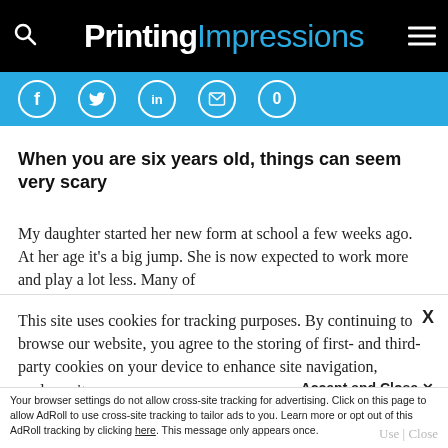Printing Impressions
[Figure (screenshot): Social sharing bar with Facebook, Twitter, LinkedIn, email icons and count 0 on cyan background]
When you are six years old, things can seem very scary
My daughter started her new form at school a few weeks ago. At her age it's a big jump. She is now expected to work more and play a lot less. Many of
This site uses cookies for tracking purposes. By continuing to browse our website, you agree to the storing of first- and third-party cookies on your device to enhance site navigation, analyze site
usage, and assist in our marketing and
Accept and Close ✕
Your browser settings do not allow cross-site tracking for advertising. Click on this page to allow AdRoll to use cross-site tracking to tailor ads to you. Learn more or opt out of this AdRoll tracking by clicking here. This message only appears once.